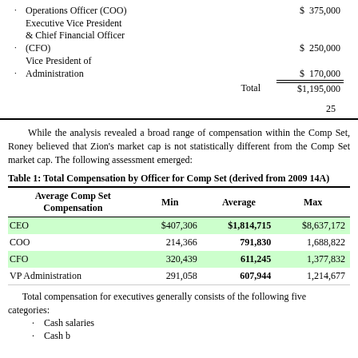Operations Officer (COO)  $  375,000
Executive Vice President & Chief Financial Officer (CFO)  $  250,000
Vice President of Administration  $  170,000
Total  $1,195,000
25
While the analysis revealed a broad range of compensation within the Comp Set, Roney believed that Zion's market cap is not statistically different from the Comp Set market cap.  The following assessment emerged:
Table 1: Total Compensation by Officer for Comp Set (derived from 2009 14A)
| Average Comp Set Compensation | Min | Average | Max |
| --- | --- | --- | --- |
| CEO | $407,306 | $1,814,715 | $8,637,172 |
| COO | 214,366 | 791,830 | 1,688,822 |
| CFO | 320,439 | 611,245 | 1,377,832 |
| VP Administration | 291,058 | 607,944 | 1,214,677 |
Total compensation for executives generally consists of the following five categories:
Cash salaries
Cash bonuses